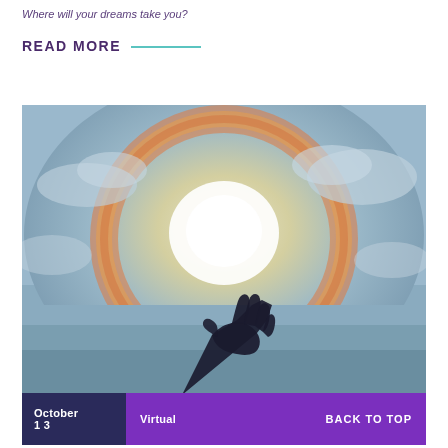Where will your dreams take you?
READ MORE
[Figure (photo): A silhouette of an outstretched hand reaching toward a bright glowing sun surrounded by a circular rainbow halo in a cloudy sky, creating a dramatic inspirational image.]
October 13   Virtual   BACK TO TOP